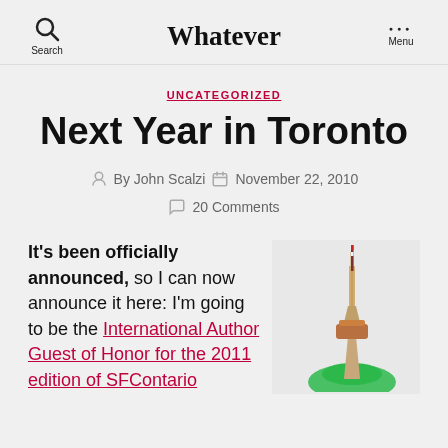Whatever
UNCATEGORIZED
Next Year in Toronto
By John Scalzi  November 22, 2010  20 Comments
It's been officially announced, so I can now announce it here: I'm going to be the International Author Guest of Honor for the 2011 edition of SFContario